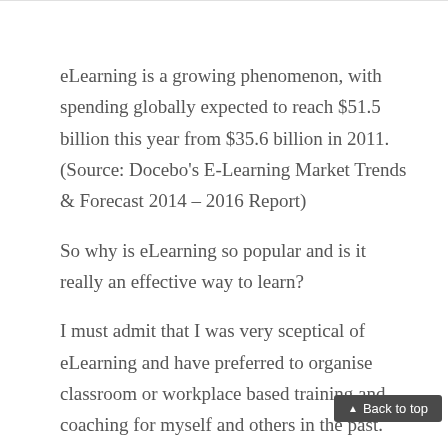eLearning is a growing phenomenon, with spending globally expected to reach $51.5 billion this year from $35.6 billion in 2011. (Source: Docebo's E-Learning Market Trends & Forecast 2014 – 2016 Report)
So why is eLearning so popular and is it really an effective way to learn?
I must admit that I was very sceptical of eLearning and have preferred to organise classroom or workplace based training and coaching for myself and others in the past.